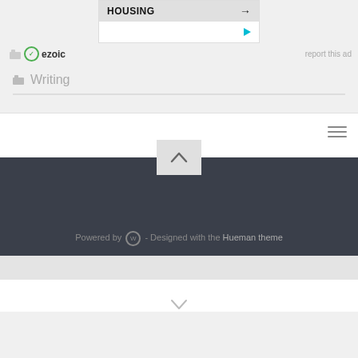[Figure (screenshot): Ad box showing HOUSING with arrow and ezoic branding]
report this ad
Writing
[Figure (screenshot): White navigation bar with hamburger menu icon]
[Figure (screenshot): Dark footer with back-to-top chevron button]
Powered by WordPress - Designed with the Hueman theme